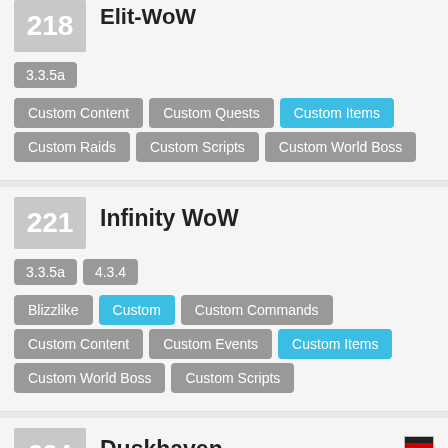218
Elit-WoW
3.3.5a
Custom Content
Custom Quests
Custom Items
Custom Raids
Custom Scripts
Custom World Boss
221
Infinity WoW
3.3.5a
4.3.4
Blizzlike
Custom
Custom Commands
Custom Content
Custom Events
Custom Items
Custom World Boss
Custom Scripts
224
Duskhaven